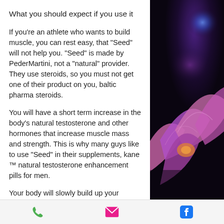What you should expect if you use it
If you're an athlete who wants to build muscle, you can rest easy, that "Seed" will not help you. "Seed" is made by PederMartini, not a "natural" provider. They use steroids, so you must not get one of their product on you, baltic pharma steroids.
You will have a short term increase in the body's natural testosterone and other hormones that increase muscle mass and strength. This is why many guys like to use "Seed" in their supplements, kane ™ natural testosterone enhancement pills for men.
Your body will slowly build up your strength and muscle mass, testosterone propionate detection time. Your weight will be slightly
[Figure (photo): Decorative photo of purple/pink flower petals and blue light bokeh on dark background]
Phone | Email | Facebook